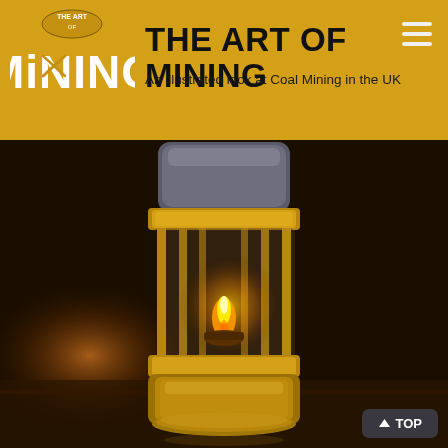[Figure (logo): The Art of Mining logo — stylized text 'MiNING' with a small oval emblem above reading 'THE ART OF' on a golden/amber background]
THE ART OF MINING
An illustrated look at Coal Mining in the UK
[Figure (illustration): A painted/illustrated image of a brass miner's safety lamp (Davy lamp style) with a glass cylinder, glowing flame inside, and golden metal fittings, set against a dark mine tunnel background with a distant light source in the lower left.]
↑ TOP